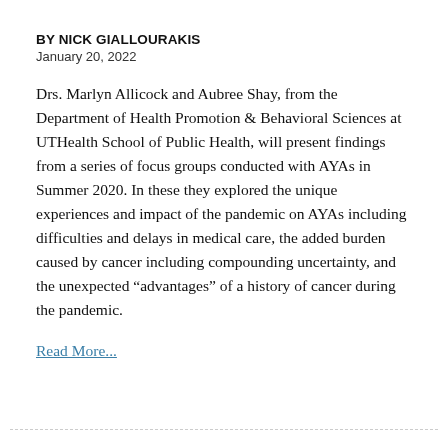BY NICK GIALLOURAKIS
January 20, 2022
Drs. Marlyn Allicock and Aubree Shay, from the Department of Health Promotion & Behavioral Sciences at UTHealth School of Public Health, will present findings from a series of focus groups conducted with AYAs in Summer 2020. In these they explored the unique experiences and impact of the pandemic on AYAs including difficulties and delays in medical care, the added burden caused by cancer including compounding uncertainty, and the unexpected “advantages” of a history of cancer during the pandemic.
Read More...